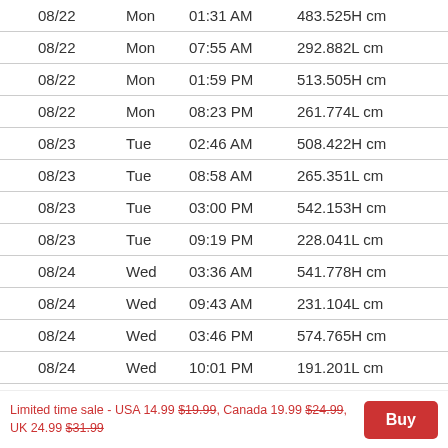| Date | Day | Time | Height |
| --- | --- | --- | --- |
| 08/22 | Mon | 01:31 AM | 483.525H cm |
| 08/22 | Mon | 07:55 AM | 292.882L cm |
| 08/22 | Mon | 01:59 PM | 513.505H cm |
| 08/22 | Mon | 08:23 PM | 261.774L cm |
| 08/23 | Tue | 02:46 AM | 508.422H cm |
| 08/23 | Tue | 08:58 AM | 265.351L cm |
| 08/23 | Tue | 03:00 PM | 542.153H cm |
| 08/23 | Tue | 09:19 PM | 228.041L cm |
| 08/24 | Wed | 03:36 AM | 541.778H cm |
| 08/24 | Wed | 09:43 AM | 231.104L cm |
| 08/24 | Wed | 03:46 PM | 574.765H cm |
| 08/24 | Wed | 10:01 PM | 191.201L cm |
| 08/25 | Thu | 04:14 AM | 574.716H cm |
Limited time sale - USA 14.99 $19.99, Canada 19.99 $24.99, UK 24.99 $31.99